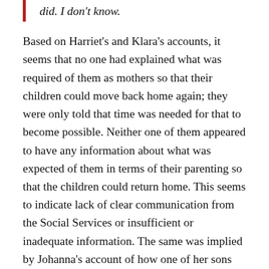did. I don't know.
Based on Harriet's and Klara's accounts, it seems that no one had explained what was required of them as mothers so that their children could move back home again; they were only told that time was needed for that to become possible. Neither one of them appeared to have any information about what was expected of them in terms of their parenting so that the children could return home. This seems to indicate lack of clear communication from the Social Services or insufficient or inadequate information. The same was implied by Johanna's account of how one of her sons ended up moving back home after a stay in a foster family:
This [the son's moving back home] I of course was not prepared for...And then all of a sudden he was